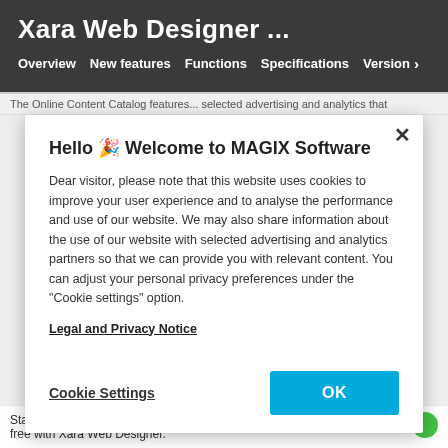Xara Web Designer ...
Overview   New features   Functions   Specifications   Version >
The Online Content Catalog features...
Hello 🎉 Welcome to MAGIX Software
Dear visitor, please note that this website uses cookies to improve your user experience and to analyse the performance and use of our website. We may also share information about the use of our website with selected advertising and analytics partners so that we can provide you with relevant content. You can adjust your personal privacy preferences under the "Cookie settings" option.
Legal and Privacy Notice
Cookie Settings
OK
Starting now, activate and use over a thousand Google fonts free with Xara Web Designer.